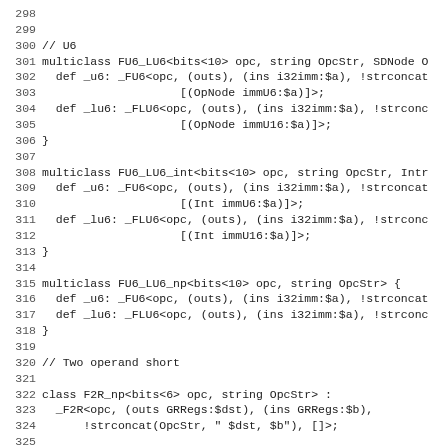Code listing lines 298-329, showing multiclass and class definitions in LLVM TableGen format including FU6_LU6, FU6_LU6_int, FU6_LU6_np, F2R_np classes and a comment about Pseudo Instructions.